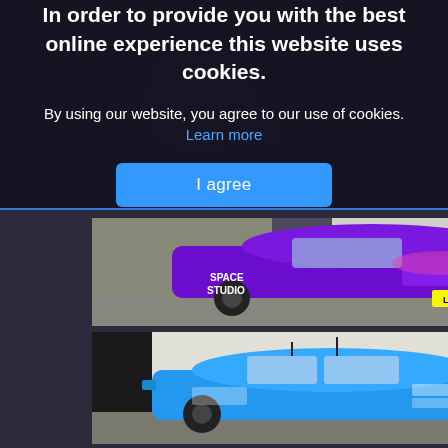In order to provide you with the best online experience this website uses cookies.
By using our website, you agree to our use of cookies. Learn more
I agree
[Figure (photo): Purple Audi car with 'Space Studio' branding and license plate LX62 UTS parked in a driveway]
[Figure (photo): Blue small car with company branding/logos parked outside]